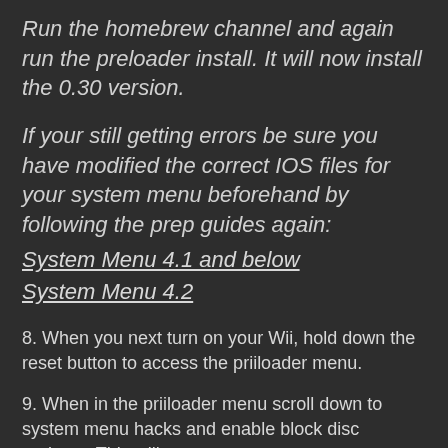Run the homebrew channel and again run the preloader install. It will now install the 0.30 version.
If your still getting errors be sure you have modified the correct IOS files for your system menu beforehand by following the prep guides again:
System Menu 4.1 and below
System Menu 4.2
8. When you next turn on your Wii, hold down the reset button to access the priiloader menu.
9. When in the priiloader menu scroll down to system menu hacks and enable block disc updates. This will